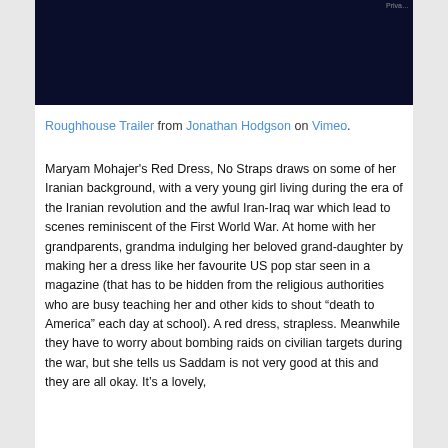[Figure (screenshot): Dark navy/black video embed area with a small privacy label in the top right corner]
Roughhouse Trailer from Jonathan Hodgson on Vimeo.
Maryam Mohajer's Red Dress, No Straps draws on some of her Iranian background, with a very young girl living during the era of the Iranian revolution and the awful Iran-Iraq war which lead to scenes reminiscent of the First World War. At home with her grandparents, grandma indulging her beloved grand-daughter by making her a dress like her favourite US pop star seen in a magazine (that has to be hidden from the religious authorities who are busy teaching her and other kids to shout “death to America” each day at school). A red dress, strapless. Meanwhile they have to worry about bombing raids on civilian targets during the war, but she tells us Saddam is not very good at this and they are all okay. It’s a lovely,